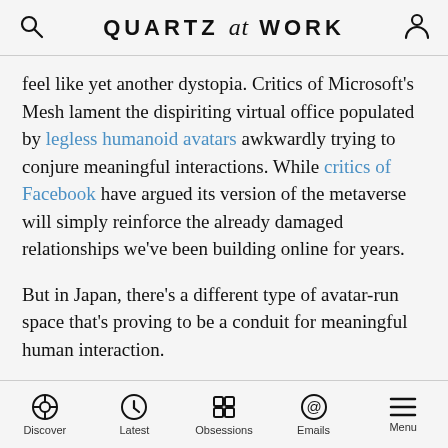QUARTZ at WORK
feel like yet another dystopia. Critics of Microsoft’s Mesh lament the dispiriting virtual office populated by legless humanoid avatars awkwardly trying to conjure meaningful interactions. While critics of Facebook have argued its version of the metaverse will simply reinforce the already damaged relationships we’ve been building online for years.
But in Japan, there’s a different type of avatar-run space that’s proving to be a conduit for meaningful human interaction.
Tokyo-based DAWN, or Diverse Avatar Working Network, is a cafe staffed by robots operated remotely by people with severe physical disabilities like amyotrophic lateral
Discover | Latest | Obsessions | Emails | Menu